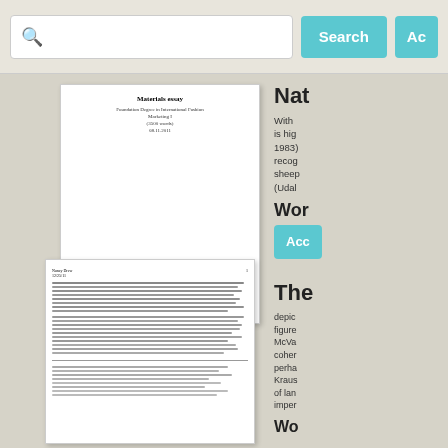[Figure (screenshot): Search bar UI with search icon, input field, Search button, and partial Acc button]
[Figure (screenshot): Thumbnail of a document titled 'Materials essay' with subtitle Foundation Degree in International Fashion Marketing I, (3500 words), 08.11.2011]
Nat
With ... is hig... 1983)... recog... sheep... (Udal...
Wor
[Figure (screenshot): Button labeled Acc in teal/cyan color]
[Figure (screenshot): Thumbnail of a second document page with dense text blocks and footnotes]
The
depic... figure... McVa... coher... perha... Kraus... of lan... imper...
Wo